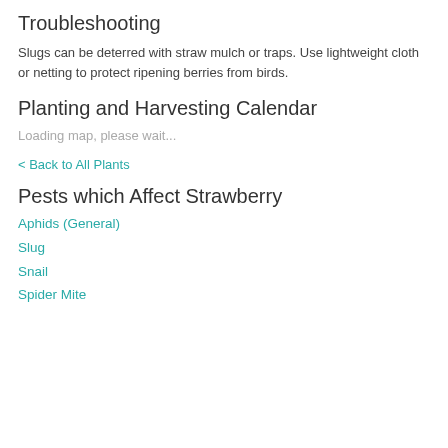Troubleshooting
Slugs can be deterred with straw mulch or traps. Use lightweight cloth or netting to protect ripening berries from birds.
Planting and Harvesting Calendar
Loading map, please wait...
< Back to All Plants
Pests which Affect Strawberry
Aphids (General)
Slug
Snail
Spider Mite